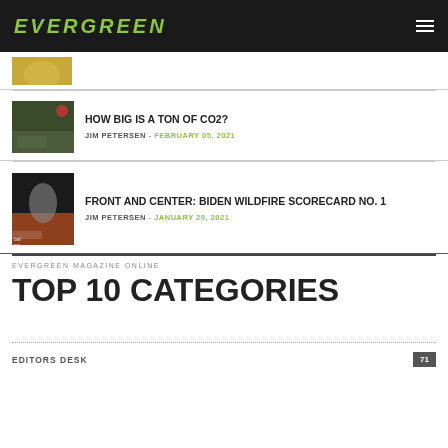EVERGREEN
[Figure (photo): Partial article thumbnail at top, cropped, yellowish/golden image]
HOW BIG IS A TON OF CO2? — JIM PETERSEN - FEBRUARY 05, 2021
FRONT AND CENTER: BIDEN WILDFIRE SCORECARD NO. 1 — JIM PETERSEN - JANUARY 29, 2021
EVERGREEN MAGAZINE ONLINE
TOP 10 CATEGORIES
EDITORS DESK  71